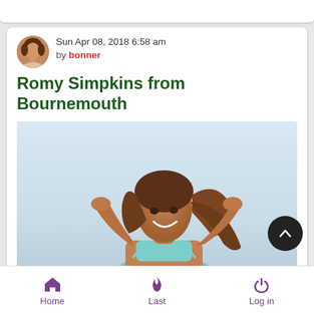Sun Apr 08, 2018 6:58 am by bonner
Romy Simpkins from Bournemouth
[Figure (photo): Woman in a teal/mint bikini top smiling with hands behind her head against a light sky background]
Home  Last  Log in